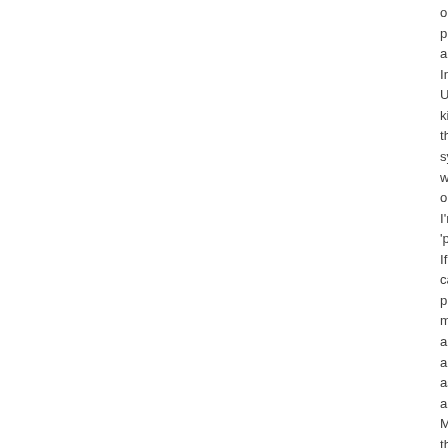operating systems, programmers, and control systems. In the past, UNIX-like systems had kilobytes. the memory system and would each out of space I'm not sure 'pages'. If the computer can save a programmer memory and applications app in a page as valgrind applications. Most profilers they use to